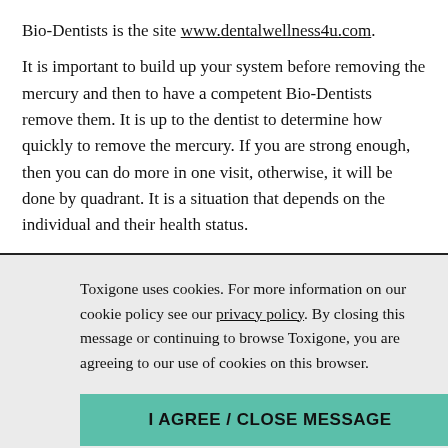Bio-Dentists is the site www.dentalwellness4u.com.
It is important to build up your system before removing the mercury and then to have a competent Bio-Dentists remove them. It is up to the dentist to determine how quickly to remove the mercury. If you are strong enough, then you can do more in one visit, otherwise, it will be done by quadrant. It is a situation that depends on the individual and their health status.
Toxigone uses cookies. For more information on our cookie policy see our privacy policy. By closing this message or continuing to browse Toxigone, you are agreeing to our use of cookies on this browser.
I AGREE / CLOSE MESSAGE